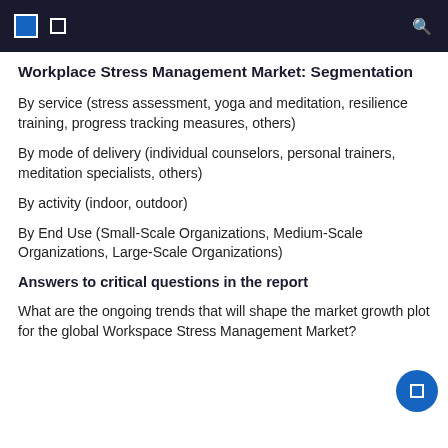Workplace Stress Management Market: Segmentation
By service (stress assessment, yoga and meditation, resilience training, progress tracking measures, others)
By mode of delivery (individual counselors, personal trainers, meditation specialists, others)
By activity (indoor, outdoor)
By End Use (Small-Scale Organizations, Medium-Scale Organizations, Large-Scale Organizations)
Answers to critical questions in the report
What are the ongoing trends that will shape the market growth plot for the global Workspace Stress Management Market?